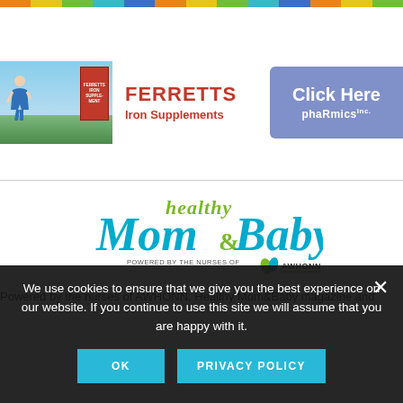[Figure (other): Colorful horizontal stripe bar at the top of the page with alternating colors: orange, yellow, green, teal, blue repeating]
[Figure (other): Ferretts Iron Supplements advertisement banner. Left section shows outdoor scene with woman and red product box. Center shows FERRETTS in red bold text and Iron Supplements subtitle. Right side shows blue rounded tab with Click Here and pharmics inc in white text.]
[Figure (logo): Healthy Mom & Baby logo. Stylized script text reading 'healthy Mom & Baby' in teal/blue and green colors. Below reads POWERED BY THE NURSES OF AWHONN with AWHONN logo.]
Powered by the nurses of AWHONN, Healthy Mom&Baby magazine and
We use cookies to ensure that we give you the best experience on our website. If you continue to use this site we will assume that you are happy with it.